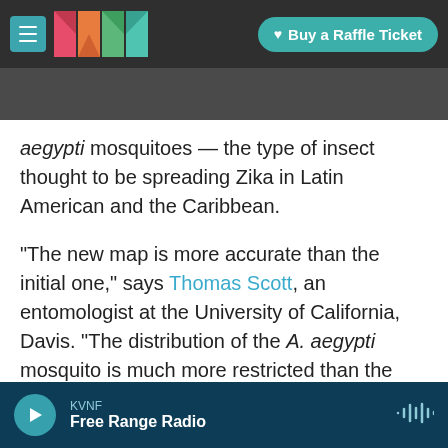KVNF | Buy a Raffle Ticket
aegypti mosquitoes — the type of insect thought to be spreading Zika in Latin American and the Caribbean.
"The new map is more accurate than the initial one," says Thomas Scott, an entomologist at the University of California, Davis. "The distribution of the A. aegypti mosquito is much more restricted than the initial map showed."
In the map, counties colored yellow reported A. aegypti mosquitoes during one year between 1995 and 2016. Orange counties had the mosquitoes in two years. And red counties are the hot spots:
KVNF | Free Range Radio